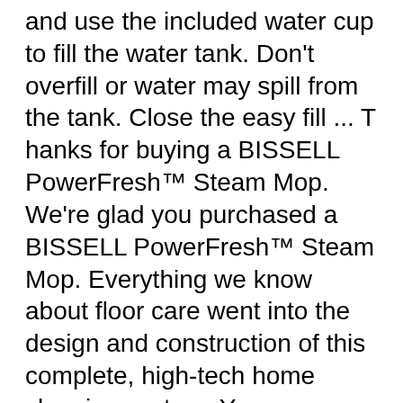and use the included water cup to fill the water tank. Don't overfill or water may spill from the tank. Close the easy fill ... T hanks for buying a BISSELL PowerFresh™ Steam Mop. We're glad you purchased a BISSELL PowerFresh™ Steam Mop. Everything we know about floor care went into the design and construction of this complete, high-tech home cleaning system. Your BISSELL PowerFresh Steam Mop is well made, and we back it with a limited two-year warranty. We also
Bissell Steam Mop Deluxe 31N1 Manuals & User Guides. User Manuals, Guides and Specifications for your Bissell Steam Mop Deluxe 31N1 Vacuum Cleaner. Database contains 1 Bissell ...